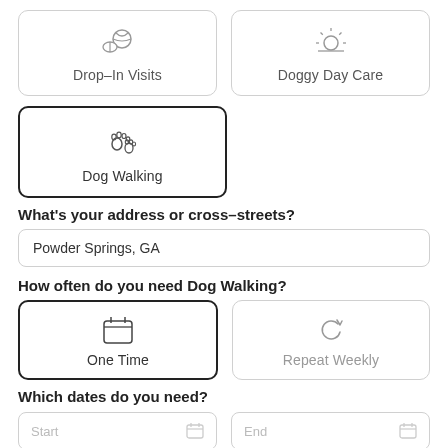[Figure (other): Service selection cards: Drop-In Visits (with paw/ball icon) and Doggy Day Care (with sun icon)]
[Figure (other): Service selection card: Dog Walking (with paw prints icon), selected/highlighted with dark border]
What's your address or cross-streets?
Powder Springs, GA
How often do you need Dog Walking?
[Figure (other): Frequency option card: One Time (calendar icon), selected with dark border]
[Figure (other): Frequency option card: Repeat Weekly (circular arrows icon)]
Which dates do you need?
[Figure (other): Date input fields: Start and End, each with a calendar icon]